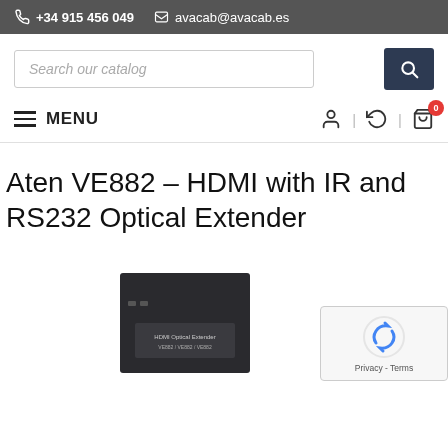+34 915 456 049  avacab@avacab.es
[Figure (screenshot): Search bar with placeholder text 'Search our catalog' and a dark blue search button with magnifying glass icon]
MENU
Aten VE882 – HDMI with IR and RS232 Optical Extender
[Figure (photo): Product image: dark box packaging labeled 'HDMI Optical Extender' shown at bottom of page. A reCAPTCHA widget with 'Privacy - Terms' text is overlaid at bottom right.]